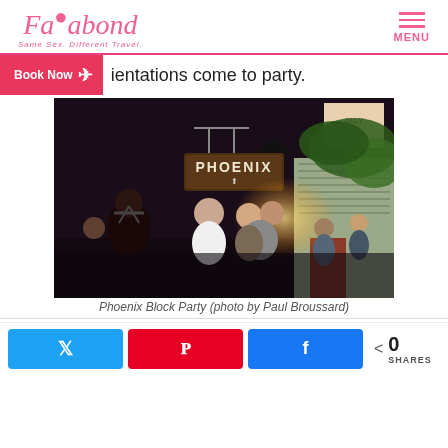Fagabond — Same Sex. Different Travel. | MENU
ientations come to party.
[Figure (photo): Crowd of people outside Phoenix bar at night, with a wooden sign reading PHOENIX hanging above the entrance, people in leather gear, bright lights, trees visible]
Phoenix Block Party (photo by Paul Broussard)
Share buttons: Twitter, Pinterest, Facebook | 0 SHARES